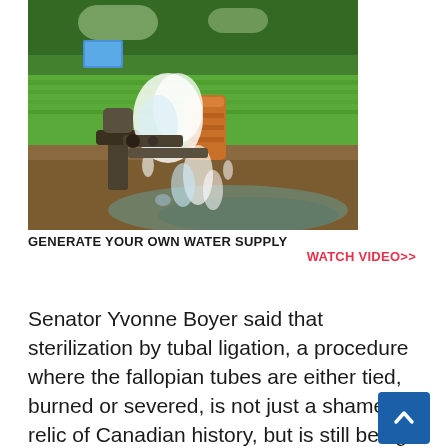[Figure (photo): Outdoor scene showing water gushing forcefully from a broken or open pipe/pump mechanism surrounded by muddy ground and green agricultural fields in the background.]
GENERATE YOUR OWN WATER SUPPLY WATCH VIDEO>>
Senator Yvonne Boyer said that sterilization by tubal ligation, a procedure where the fallopian tubes are either tied, burned or severed, is not just a shameful relic of Canadian history, but is still being carried